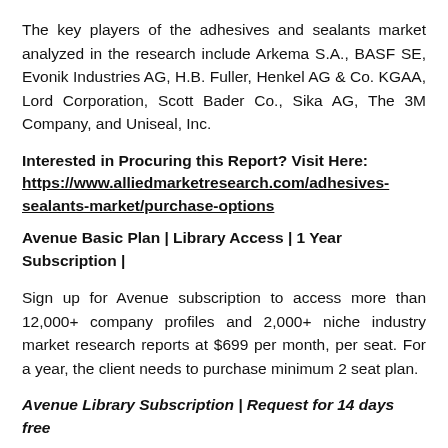The key players of the adhesives and sealants market analyzed in the research include Arkema S.A., BASF SE, Evonik Industries AG, H.B. Fuller, Henkel AG & Co. KGAA, Lord Corporation, Scott Bader Co., Sika AG, The 3M Company, and Uniseal, Inc.
Interested in Procuring this Report? Visit Here: https://www.alliedmarketresearch.com/adhesives-sealants-market/purchase-options
Avenue Basic Plan | Library Access | 1 Year Subscription |
Sign up for Avenue subscription to access more than 12,000+ company profiles and 2,000+ niche industry market research reports at $699 per month, per seat. For a year, the client needs to purchase minimum 2 seat plan.
Avenue Library Subscription | Request for 14 days free